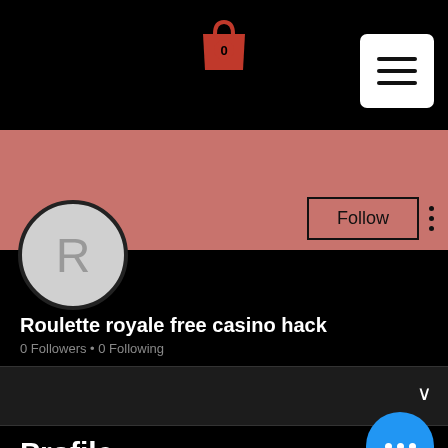[Figure (screenshot): Shopping bag icon with red color and badge showing 0]
[Figure (screenshot): Hamburger menu button (three horizontal lines) on white rounded square background]
[Figure (screenshot): Pink/salmon color cover band (profile header background)]
[Figure (screenshot): Circular avatar placeholder with letter R on gray background]
Follow
Roulette royale free casino hack
0 Followers • 0 Following
Profile